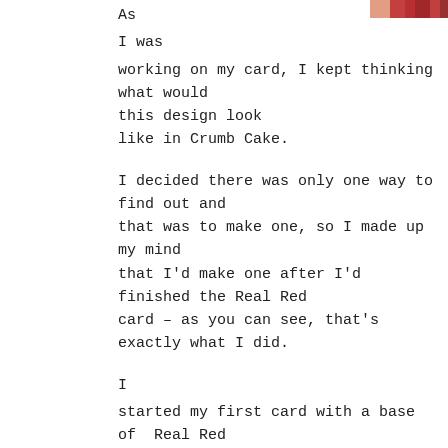[Figure (photo): Partial photo strip at top right corner of the page showing what appears to be a red and orange patterned card or craft item.]
As

I was

working on my card, I kept thinking what would this design look like in Crumb Cake.

I decided there was only one way to find out and that was to make one, so I made up my mind that I'd make one after I'd finished the Real Red card – as you can see, that's exactly what I did.

I

started my first card with a base of Real Red Cardstock, with a layer of Whisper White.